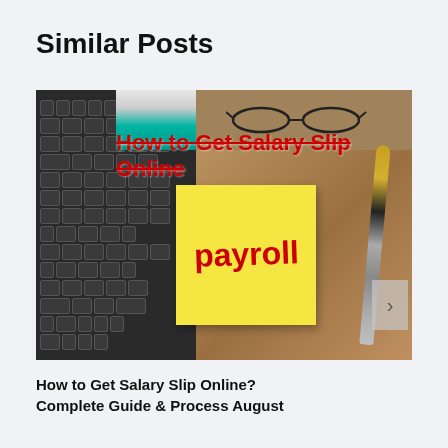Similar Posts
[Figure (photo): A photo showing a laptop keyboard on the left, a yellow sticky note with 'Payroll' written in red, a fountain pen, and glasses on a teal notebook/folder on a wood desk surface. A red overlay text reads 'How to Get Salary Slip Online' with strikethrough.]
How to Get Salary Slip Online? Complete Guide & Process August